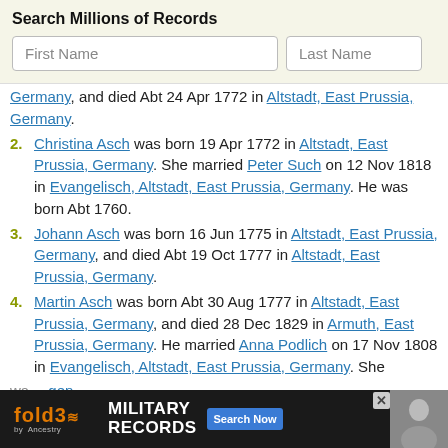Search Millions of Records
First Name | Last Name (search input placeholders)
Germany, and died Abt 24 Apr 1772 in Altstadt, East Prussia, Germany.
2. Christina Asch was born 19 Apr 1772 in Altstadt, East Prussia, Germany. She married Peter Such on 12 Nov 1818 in Evangelisch, Altstadt, East Prussia, Germany. He was born Abt 1760.
3. Johann Asch was born 16 Jun 1775 in Altstadt, East Prussia, Germany, and died Abt 19 Oct 1777 in Altstadt, East Prussia, Germany.
4. Martin Asch was born Abt 30 Aug 1777 in Altstadt, East Prussia, Germany, and died 28 Dec 1829 in Armuth, East Prussia, Germany. He married Anna Podlich on 17 Nov 1808 in Evangelisch, Altstadt, East Prussia, Germany. She
wa... gen, Eas... in
[Figure (screenshot): fold3 by Ancestry military records advertisement banner with Search Now button and vintage soldier photo]